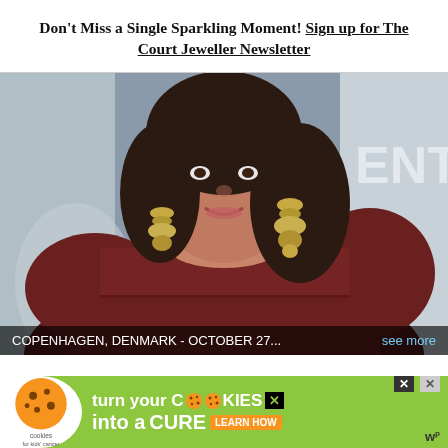Don't Miss a Single Sparkling Moment! Sign up for The Court Jeweller Newsletter
[Figure (photo): A woman with dark wavy hair wearing large ornate gold chandelier earrings and a dark maroon/burgundy long-sleeve dress, smiling at what appears to be a formal event. Background shows partial text 'ENT'. Caption bar reads 'COPENHAGEN, DENMARK - OCTOBER 27...' with 'see more' link.]
COPENHAGEN, DENMARK - OCTOBER 27...